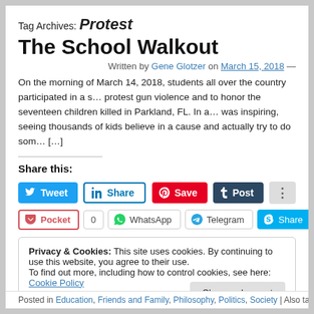Tag Archives: Protest
The School Walkout
Written by Gene Glotzer on March 15, 2018 —
On the morning of March 14, 2018, students all over the country participated in a s… protest gun violence and to honor the seventeen children killed in Parkland, FL. In a… was inspiring, seeing thousands of kids believe in a cause and actually try to do som… [...]
Share this:
[Figure (screenshot): Social sharing buttons: Tweet, Share (LinkedIn), Save (Pinterest), Post (Tumblr), and more buttons in row 1; Pocket, 0, WhatsApp, Telegram, Share (Skype) in row 2]
Privacy & Cookies: This site uses cookies. By continuing to use this website, you agree to their use. To find out more, including how to control cookies, see here: Cookie Policy
Posted in Education, Friends and Family, Philosophy, Politics, Society | Also tagged Adv…